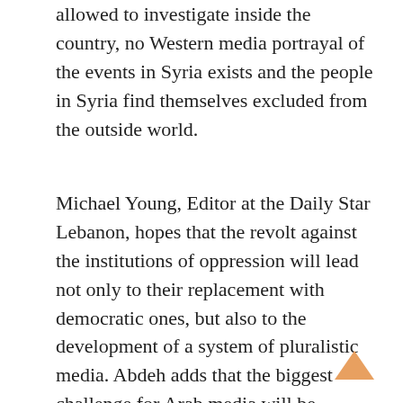allowed to investigate inside the country, no Western media portrayal of the events in Syria exists and the people in Syria find themselves excluded from the outside world.
Michael Young, Editor at the Daily Star Lebanon, hopes that the revolt against the institutions of oppression will lead not only to their replacement with democratic ones, but also to the development of a system of pluralistic media. Abdeh adds that the biggest challenge for Arab media will be financial, as they currently depend on the state or the support of NGOs. Commercialisation will be needed to secure the independence of the media as they can no longer remain dependent on the state. Salem concludes that it will be interesting to see where the countries in the Middle East will head now in the aftermath of the uprisings. Even though people will